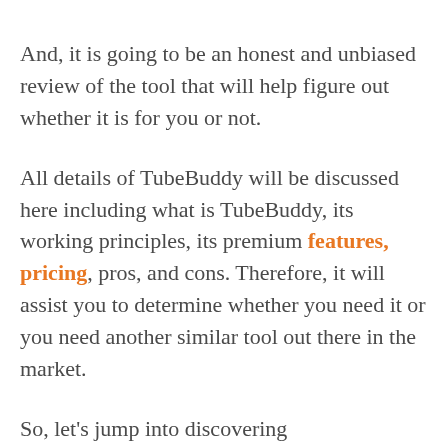And, it is going to be an honest and unbiased review of the tool that will help figure out whether it is for you or not.
All details of TubeBuddy will be discussed here including what is TubeBuddy, its working principles, its premium features, pricing, pros, and cons. Therefore, it will assist you to determine whether you need it or you need another similar tool out there in the market.
So, let's jump into discovering